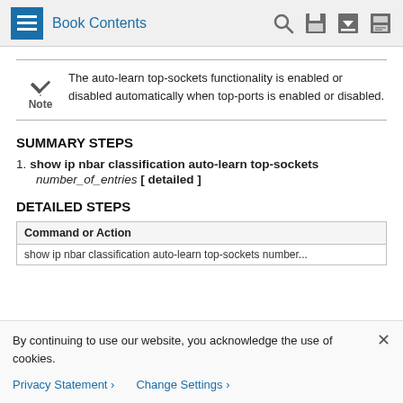Book Contents
The auto-learn top-sockets functionality is enabled or disabled automatically when top-ports is enabled or disabled.
SUMMARY STEPS
1. show ip nbar classification auto-learn top-sockets number_of_entries [ detailed ]
DETAILED STEPS
| Command or Action |
| --- |
| show ip nbar classification auto-learn top-sockets number... |
By continuing to use our website, you acknowledge the use of cookies.
Privacy Statement >   Change Settings >